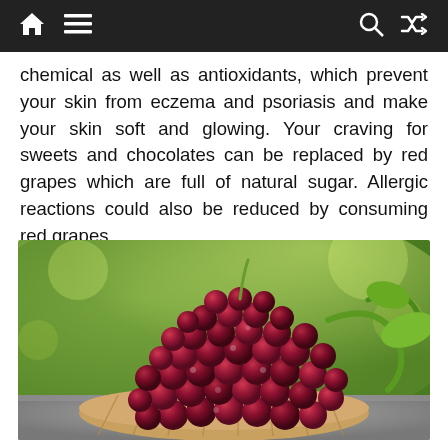Navigation bar with home, menu, search, and shuffle icons
chemical as well as antioxidants, which prevent your skin from eczema and psoriasis and make your skin soft and glowing. Your craving for sweets and chocolates can be replaced by red grapes which are full of natural sugar. Allergic reactions could also be reduced by consuming red grapes.
[Figure (photo): A cluster of red grapes piled in a wicker basket, with green leaves visible, placed on a stone surface with a blurred green background.]